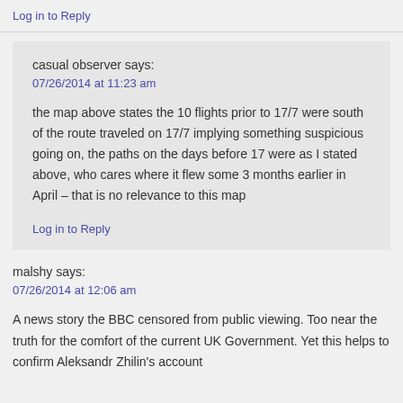Log in to Reply
casual observer says:
07/26/2014 at 11:23 am
the map above states the 10 flights prior to 17/7 were south of the route traveled on 17/7 implying something suspicious going on, the paths on the days before 17 were as I stated above, who cares where it flew some 3 months earlier in April – that is no relevance to this map
Log in to Reply
malshy says:
07/26/2014 at 12:06 am
A news story the BBC censored from public viewing. Too near the truth for the comfort of the current UK Government. Yet this helps to confirm Aleksandr Zhilin's account